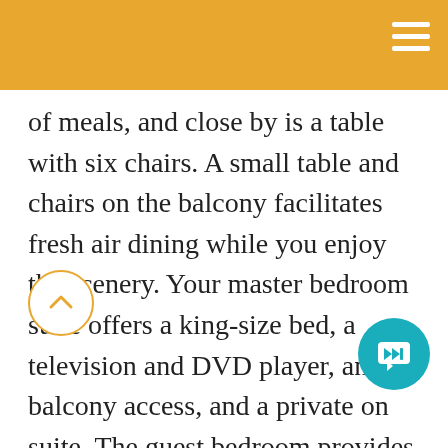of meals, and close by is a table with six chairs. A small table and chairs on the balcony facilitates fresh air dining while you enjoy the scenery. Your master bedroom suite offers a king-size bed, a television and DVD player, and balcony access, and a private on suite. The guest bedroom provides a queensize bed, and a set of triple bunks and a semi-private bathroom. The half-bath is conveniently located in the downstairs living area. This town home also offers a washer and dryer for your convenience. Covered parking, and internet access. This Gulf Shores Vacation Rental is non-smoking unit that does not allow pets. There is not an elevator located on